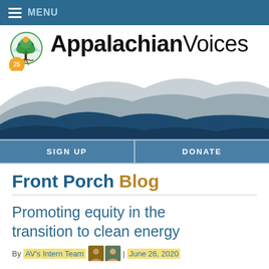MENU
[Figure (logo): Appalachian Voices logo with tree and 25th anniversary badge, and mountain silhouette banner]
SIGN UP | DONATE
Front Porch Blog
Promoting equity in the transition to clean energy
By AV's Intern Team | June 26, 2020